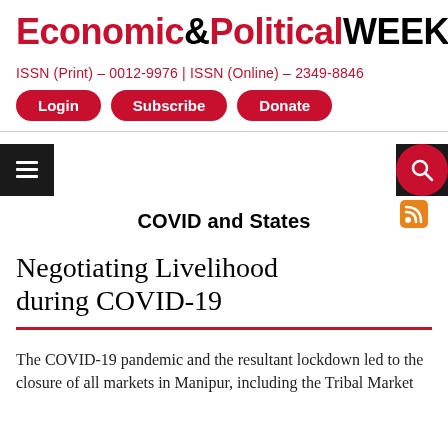Economic&PoliticalWEEKLY
ISSN (Print) – 0012-9976 | ISSN (Online) – 2349-8846
Login
Subscribe
Donate
COVID and States
Negotiating Livelihood during COVID-19
The COVID-19 pandemic and the resultant lockdown led to the closure of all markets in Manipur, including the Tribal Market